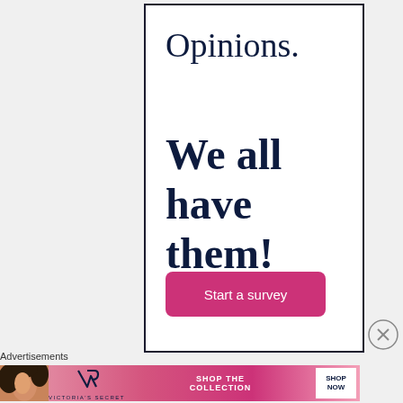Opinions.
We all have them!
Start a survey
Advertisements
[Figure (other): Victoria's Secret banner advertisement with model, logo, 'SHOP THE COLLECTION' text and 'SHOP NOW' button]